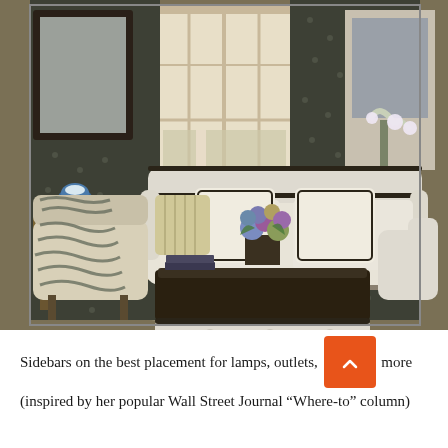[Figure (photo): Interior living room photo showing a classic, elegant sitting room with cream/white sofa with dark trim, zebra print accent chair, tufted ottoman bench, dark wood coffee table with flower arrangement, patterned dark curtains flanking large windows, blue and white ginger jar ceramics, and a framed mirror on the left wall.]
Sidebars on the best placement for lamps, outlets, [button] more (inspired by her popular Wall Street Journal "Where-to" column)